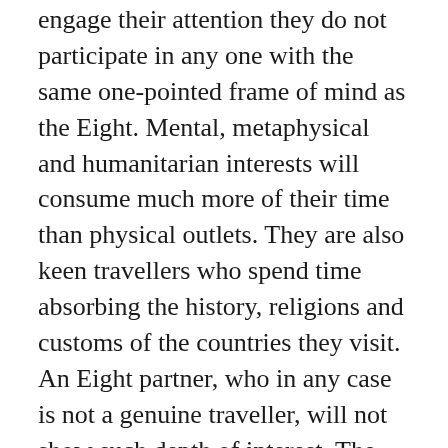engage their attention they do not participate in any one with the same one-pointed frame of mind as the Eight. Mental, metaphysical and humanitarian interests will consume much more of their time than physical outlets. They are also keen travellers who spend time absorbing the history, religions and customs of the countries they visit. An Eight partner, who in any case is not a genuine traveller, will not show such depth of interest. The chances are that these partners will spend much of their leisure time in separate activities.
With basically different attitudes to their material possessions the most serious problem is likely to arise in the financial side of their partnership. The Eight's lifestyle is built upon a foundation of financial security, and any agent